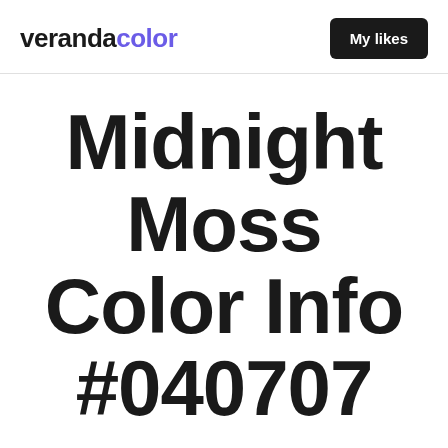verandacolor  My likes
Midnight Moss Color Info #040707
Get valuable Midnight Moss color